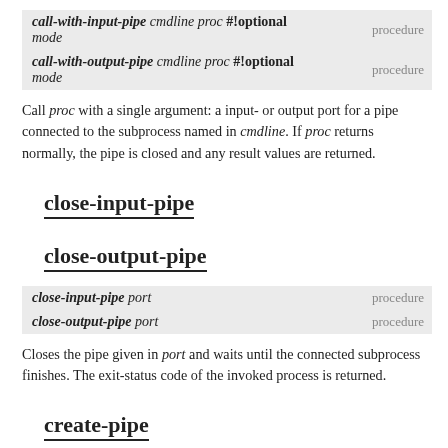| Signature | Type |
| --- | --- |
| call-with-input-pipe cmdline proc #!optional mode | procedure |
| call-with-output-pipe cmdline proc #!optional mode | procedure |
Call proc with a single argument: a input- or output port for a pipe connected to the subprocess named in cmdline. If proc returns normally, the pipe is closed and any result values are returned.
close-input-pipe
close-output-pipe
| Signature | Type |
| --- | --- |
| close-input-pipe port | procedure |
| close-output-pipe port | procedure |
Closes the pipe given in port and waits until the connected subprocess finishes. The exit-status code of the invoked process is returned.
create-pipe